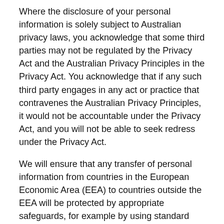Where the disclosure of your personal information is solely subject to Australian privacy laws, you acknowledge that some third parties may not be regulated by the Privacy Act and the Australian Privacy Principles in the Privacy Act. You acknowledge that if any such third party engages in any act or practice that contravenes the Australian Privacy Principles, it would not be accountable under the Privacy Act, and you will not be able to seek redress under the Privacy Act.
We will ensure that any transfer of personal information from countries in the European Economic Area (EEA) to countries outside the EEA will be protected by appropriate safeguards, for example by using standard data protection clauses approved by the European Commission, or the use of binding corporate rules or other legally accepted means. Your rights and controlling your personal information
Your choice: By providing personal information to us, you understand we will collect, hold, use, and disclose your personal information in accordance with this privacy policy. You do not have to provide personal information to us, however, if you do not, it may affect your use of our website or the